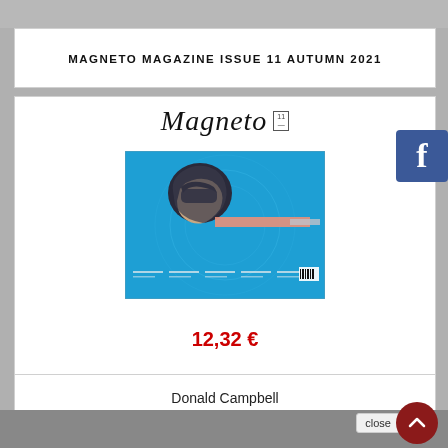MAGNETO MAGAZINE ISSUE 11 AUTUMN 2021
[Figure (illustration): Magneto magazine cover showing an illustrated man in a helmet with a blue background and a pink/salmon horizontal streak, resembling a land speed record vehicle]
12,32 €
Donald Campbell